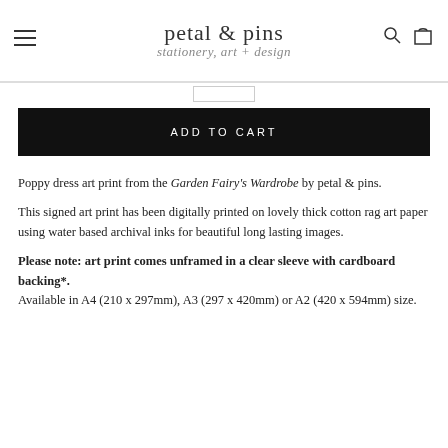petal & pins — stationery, art + design
ADD TO CART
Poppy dress art print from the Garden Fairy's Wardrobe by petal & pins.
This signed art print has been digitally printed on lovely thick cotton rag art paper using water based archival inks for beautiful long lasting images.
Please note: art print comes unframed in a clear sleeve with cardboard backing*. Available in A4 (210 x 297mm), A3 (297 x 420mm) or A2 (420 x 594mm) size.